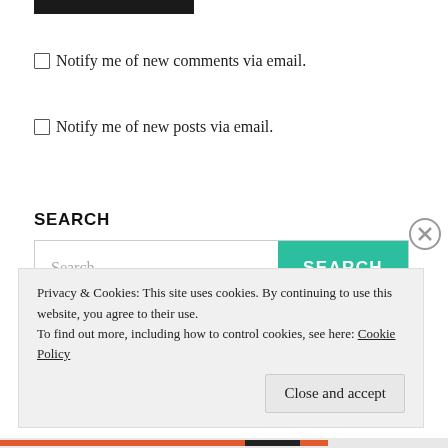[Figure (screenshot): Dark top bar / button element at top of page]
Notify me of new comments via email.
Notify me of new posts via email.
SEARCH
[Figure (screenshot): Search input box with teal SEARCH button]
Privacy & Cookies: This site uses cookies. By continuing to use this website, you agree to their use. To find out more, including how to control cookies, see here: Cookie Policy
Close and accept